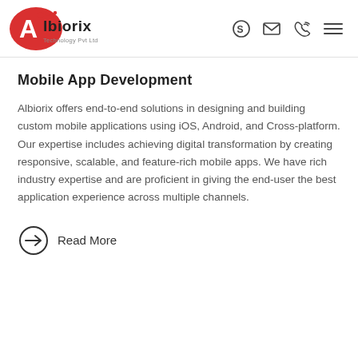Albiorix Technology Pvt Ltd
Mobile App Development
Albiorix offers end-to-end solutions in designing and building custom mobile applications using iOS, Android, and Cross-platform. Our expertise includes achieving digital transformation by creating responsive, scalable, and feature-rich mobile apps. We have rich industry expertise and are proficient in giving the end-user the best application experience across multiple channels.
Read More